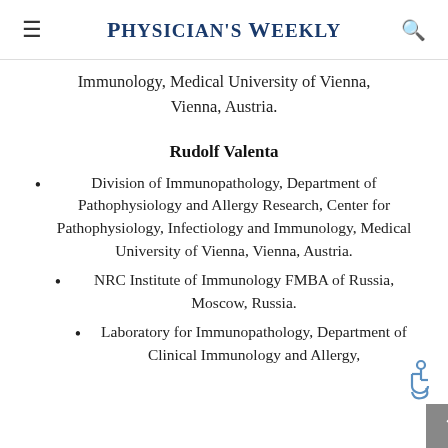Physician's Weekly
Immunology, Medical University of Vienna, Vienna, Austria.
Rudolf Valenta
Division of Immunopathology, Department of Pathophysiology and Allergy Research, Center for Pathophysiology, Infectiology and Immunology, Medical University of Vienna, Vienna, Austria.
NRC Institute of Immunology FMBA of Russia, Moscow, Russia.
Laboratory for Immunopathology, Department of Clinical Immunology and Allergy,